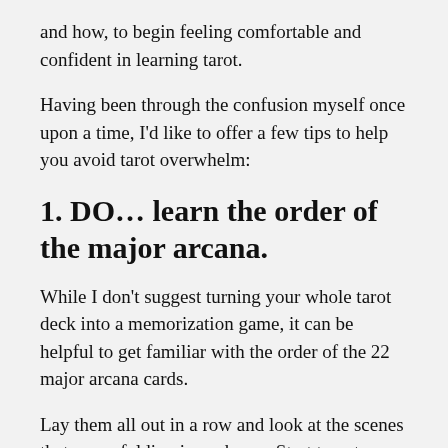and how, to begin feeling comfortable and confident in learning tarot.
Having been through the confusion myself once upon a time, I'd like to offer a few tips to help you avoid tarot overwhelm:
1. DO… learn the order of the major arcana.
While I don't suggest turning your whole tarot deck into a memorization game, it can be helpful to get familiar with the order of the 22 major arcana cards.
Lay them all out in a row and look at the scenes that are unfolding in each one. Start to get familiar with…